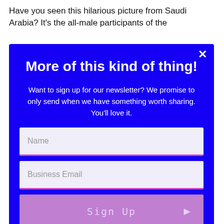Have you seen this hilarious picture from Saudi Arabia? It's the all-male participants of the
More of this kind of thing!
Want to sign up for our newsletter? We promise to only send when we have something worth sharing. You'll love it.
Name
Business Email
Sign Up
Your data is rock solid safe.